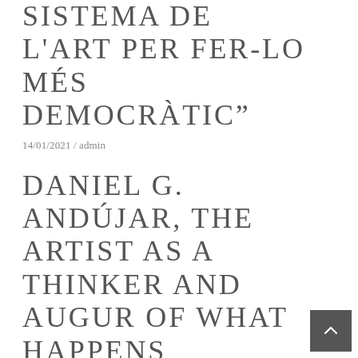SISTEMA DE L'ART PER FER-LO MÉS DEMOCRÀTIC"
14/01/2021 / admin
DANIEL G. ANDÚJAR, THE ARTIST AS A THINKER AND AUGUR OF WHAT HAPPENS
12/11/2020 / admin